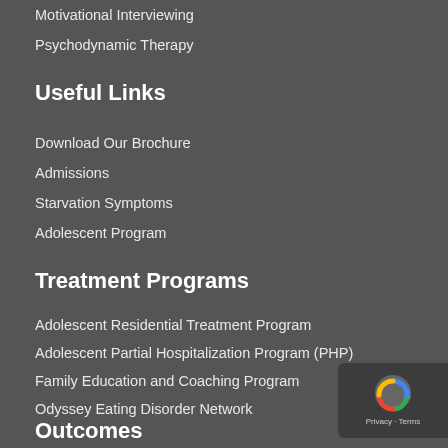Motivational Interviewing
Psychodynamic Therapy
Useful Links
Download Our Brochure
Admissions
Starvation Symptoms
Adolescent Program
Treatment Programs
Adolescent Residential Treatment Program
Adolescent Partial Hospitalization Program (PHP)
Family Education and Coaching Program
Odyssey Eating Disorder Network
Outcomes